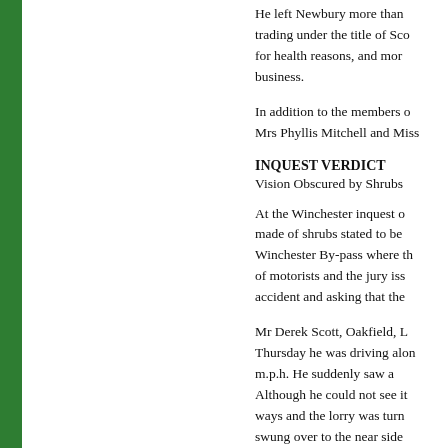He left Newbury more than trading under the title of Sco for health reasons, and mor business.
In addition to the members o Mrs Phyllis Mitchell and Miss
INQUEST VERDICT
Vision Obscured by Shrubs
At the Winchester inquest o made of shrubs stated to be Winchester By-pass where th of motorists and the jury iss accident and asking that the
Mr Derek Scott, Oakfield, L Thursday he was driving alon m.p.h. He suddenly saw a Although he could not see it ways and the lorry was turn swung over to the near side angles, with a tremendous im direction to which I was trave